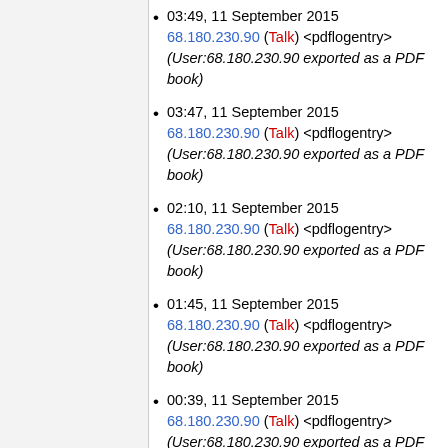03:49, 11 September 2015 68.180.230.90 (Talk) <pdflogentry> (User:68.180.230.90 exported as a PDF book)
03:47, 11 September 2015 68.180.230.90 (Talk) <pdflogentry> (User:68.180.230.90 exported as a PDF book)
02:10, 11 September 2015 68.180.230.90 (Talk) <pdflogentry> (User:68.180.230.90 exported as a PDF book)
01:45, 11 September 2015 68.180.230.90 (Talk) <pdflogentry> (User:68.180.230.90 exported as a PDF book)
00:39, 11 September 2015 68.180.230.90 (Talk) <pdflogentry> (User:68.180.230.90 exported as a PDF book)